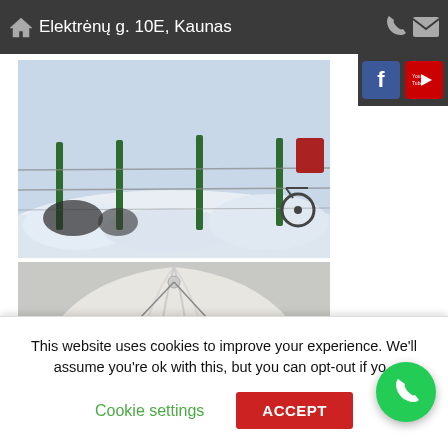Elektrėnų g. 10E, Kaunas
[Figure (photo): Outdoor winter scene with snow-covered ground, metal fence posts, and a bicycle partially visible on the right]
[Figure (photo): White tent/shelter structure with a tractor or machinery inside; STOREX branding visible on side]
This website uses cookies to improve your experience. We'll assume you're ok with this, but you can opt-out if you
Cookie settings
ACCEPT